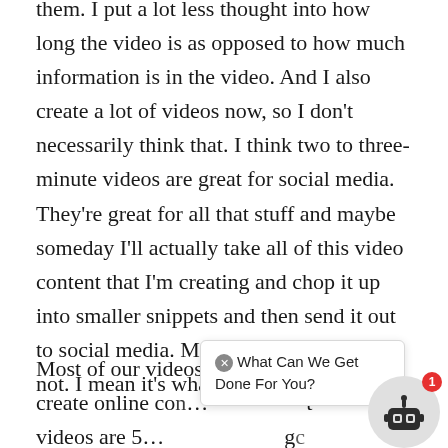them. I put a lot less thought into how long the video is as opposed to how much information is in the video. And I also create a lot of videos now, so I don't necessarily think that. I think two to three-minute videos are great for social media. They're great for all that stuff and maybe someday I'll actually take all of this video content that I'm creating and chop it up into smaller snippets and then send it out to social media. Maybe someday, maybe not. I mean it's whatever.
Most of our videos, when learning how to create online co[…]t videos are 5[…]gc little bit longer. The ones that are more in-depth
[Figure (other): Chat widget tooltip overlay with text 'What Can We Get Done For You?' and a robot icon with notification badge showing 1]